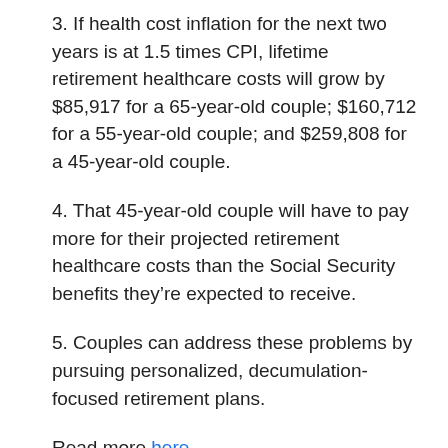3. If health cost inflation for the next two years is at 1.5 times CPI, lifetime retirement healthcare costs will grow by $85,917 for a 65-year-old couple; $160,712 for a 55-year-old couple; and $259,808 for a 45-year-old couple.
4. That 45-year-old couple will have to pay more for their projected retirement healthcare costs than the Social Security benefits they’re expected to receive.
5. Couples can address these problems by pursuing personalized, decumulation-focused retirement plans.
Read more here.